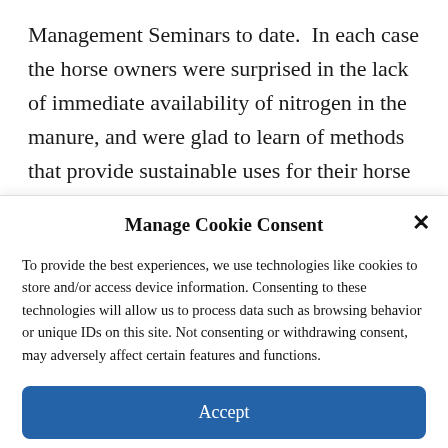Management Seminars to date.  In each case the horse owners were surprised in the lack of immediate availability of nitrogen in the manure, and were glad to learn of methods that provide sustainable uses for their horse manure while also helping to minimize potential disease issues and other impacts.  They also mentioned that they now view the manure as a resource, not as
Manage Cookie Consent
To provide the best experiences, we use technologies like cookies to store and/or access device information. Consenting to these technologies will allow us to process data such as browsing behavior or unique IDs on this site. Not consenting or withdrawing consent, may adversely affect certain features and functions.
Accept
Cookie Policy  Privacy Statement